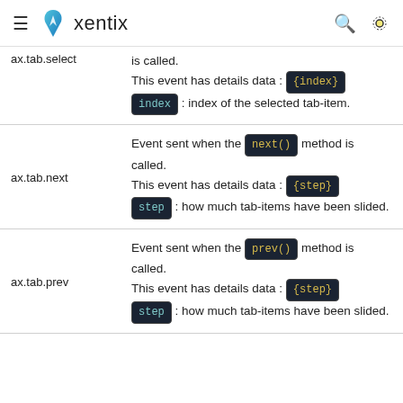xentix
| Event | Description |
| --- | --- |
| ax.tab.select | is called.
This event has details data : {index}
index : index of the selected tab-item. |
| ax.tab.next | Event sent when the next() method is called.
This event has details data : {step}
step : how much tab-items have been slided. |
| ax.tab.prev | Event sent when the prev() method is called.
This event has details data : {step}
step : how much tab-items have been slided. |